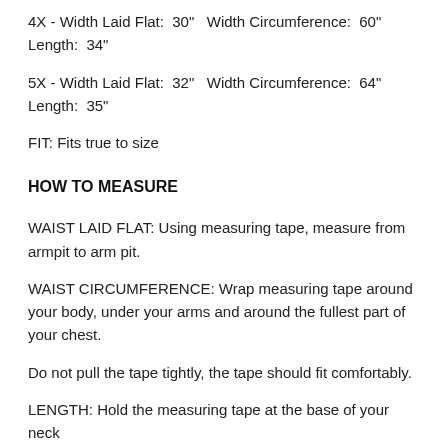4X - Width Laid Flat:  30"  Width Circumference:  60"
Length:  34"
5X - Width Laid Flat:  32"  Width Circumference:  64"
Length:  35"
FIT: Fits true to size
HOW TO MEASURE
WAIST LAID FLAT: Using measuring tape, measure from armpit to arm pit.
WAIST CIRCUMFERENCE: Wrap measuring tape around your body, under your arms and around the fullest part of your chest.
Do not pull the tape tightly, the tape should fit comfortably.
LENGTH: Hold the measuring tape at the base of your neck